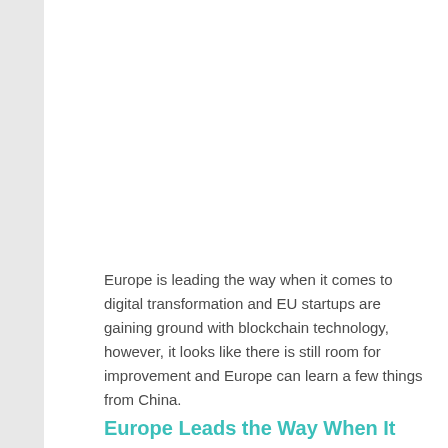Europe is leading the way when it comes to digital transformation and EU startups are gaining ground with blockchain technology, however, it looks like there is still room for improvement and Europe can learn a few things from China.
Europe Leads the Way When It